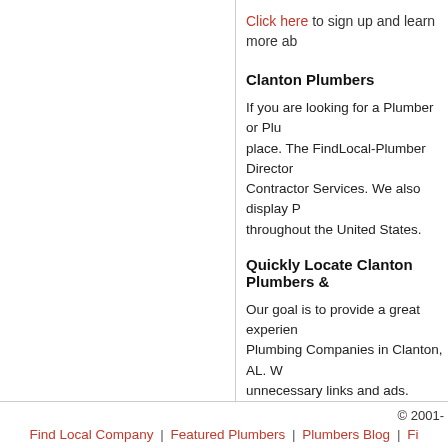Click here to sign up and learn more ab...
Clanton Plumbers
If you are looking for a Plumber or Plu... place. The FindLocal-Plumber Director... Contractor Services. We also display P... throughout the United States.
Quickly Locate Clanton Plumbers &...
Our goal is to provide a great experien... Plumbing Companies in Clanton, AL. W... unnecessary links and ads. Consumers... Plumbing Contractors using the FindLo...
Please use our zip code search functio... & Plumbing Companies in your area if... find a Plumber or Plumbing Company.
© 2001-  |  Find Local Company | Featured Plumbers | Plumbers Blog | Fi...